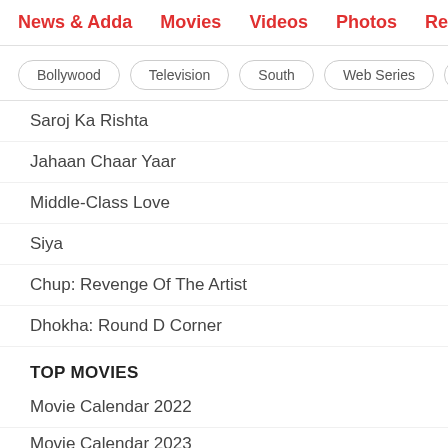News & Adda  Movies  Videos  Photos  Reviews  Box
Bollywood
Television
South
Web Series
Inte
Saroj Ka Rishta
Jahaan Chaar Yaar
Middle-Class Love
Siya
Chup: Revenge Of The Artist
Dhokha: Round D Corner
TOP MOVIES
Movie Calendar 2022
Movie Calendar 2023